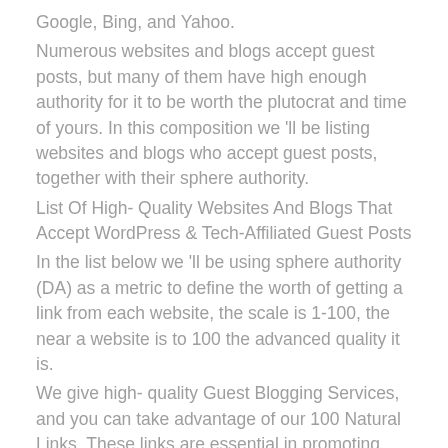Google, Bing, and Yahoo.
Numerous websites and blogs accept guest posts, but many of them have high enough authority for it to be worth the plutocrat and time of yours. In this composition we 'll be listing websites and blogs who accept guest posts, together with their sphere authority.
List Of High- Quality Websites And Blogs That Accept WordPress & Tech-Affiliated Guest Posts
In the list below we 'll be using sphere authority (DA) as a metric to define the worth of getting a link from each website, the scale is 1-100, the near a website is to 100 the advanced quality it is.
We give high- quality Guest Blogging Services, and you can take advantage of our 100 Natural Links. These links are essential in promoting your Services and Products. While utmost Link- Structure ways do n't produce results, Guest Advertisement Services are believed to work